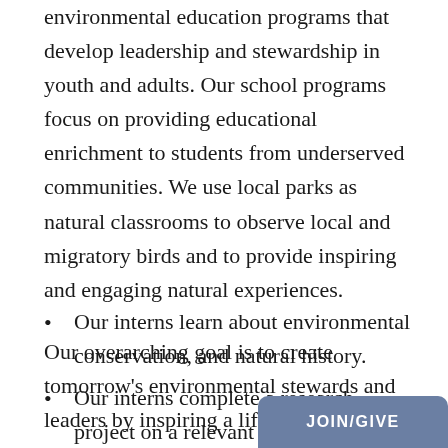environmental education programs that develop leadership and stewardship in youth and adults. Our school programs focus on providing educational enrichment to students from underserved communities. We use local parks as natural classrooms to observe local and migratory birds and to provide inspiring and engaging natural experiences.
Our overarching goal is to create tomorrow's environmental stewards and leaders by inspiring a life-long love of nature.
Our interns learn about environmental conservation, and natural history.
Our interns complete a research project on a relevant topic at the site they